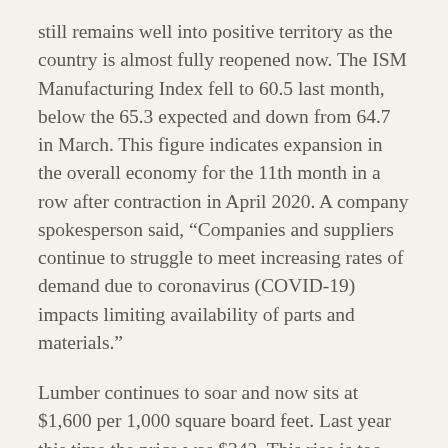still remains well into positive territory as the country is almost fully reopened now. The ISM Manufacturing Index fell to 60.5 last month, below the 65.3 expected and down from 64.7 in March. This figure indicates expansion in the overall economy for the 11th month in a row after contraction in April 2020. A company spokesperson said, “Companies and suppliers continue to struggle to meet increasing rates of demand due to coronavirus (COVID-19) impacts limiting availability of parts and materials.”
Lumber continues to soar and now sits at $1,600 per 1,000 square board feet. Last year this time the price was $342. This rise is too much too fast and will negatively impact new home sales at some point. The surge is due in part to the industry shutting down four months last year with surging demand in the current